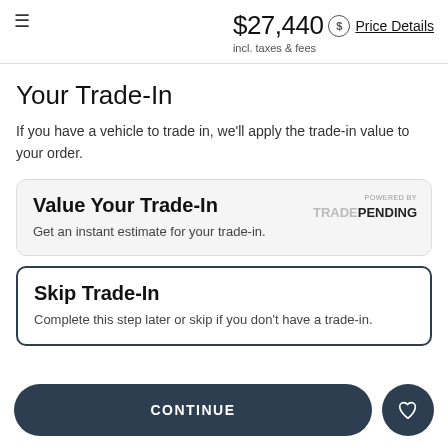≡  $27,440 incl. taxes & fees  Price Details
Your Trade-In
If you have a vehicle to trade in, we'll apply the trade-in value to your order.
Value Your Trade-In
Get an instant estimate for your trade-in.
Skip Trade-In
Complete this step later or skip if you don't have a trade-in.
CONTINUE